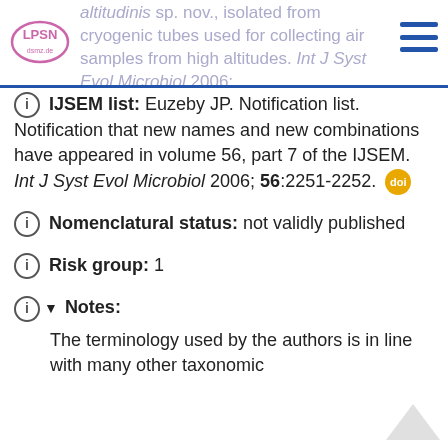altitudinis sp. nov., isolated from cryogenic tubes used for collecting air samples from high altitudes. Int J Syst Evol Microbiol 2006; 56:1465-1473.
IJSEM list: Euzeby JP. Notification list. Notification that new names and new combinations have appeared in volume 56, part 7 of the IJSEM. Int J Syst Evol Microbiol 2006; 56:2251-2252.
Nomenclatural status: not validly published
Risk group: 1
Notes:
The terminology used by the authors is in line with many other taxonomic